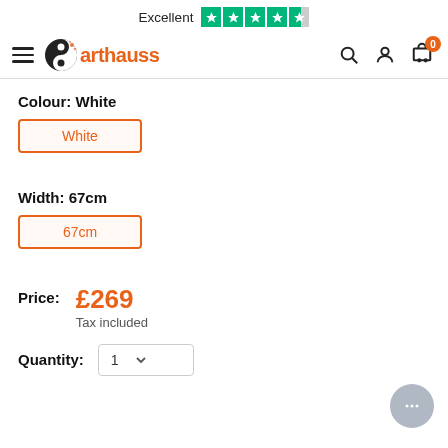Excellent ★★★★½
[Figure (logo): Arthauss logo with orange text and yin-yang style icon]
Colour: White
White
Width: 67cm
67cm
Price: £269 Tax included
Quantity: 1